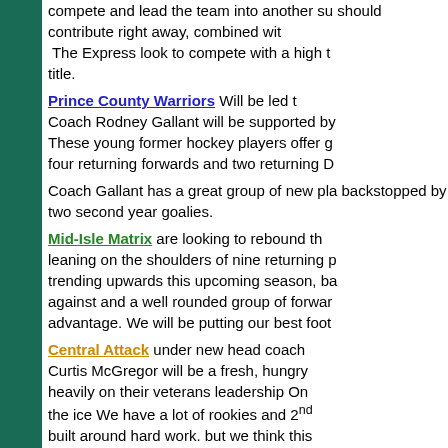compete and lead the team into another su should contribute right away, combined with The Express look to compete with a high t title.
Prince County Warriors Will be led t Coach Rodney Gallant will be supported by These young former hockey players offer g four returning forwards and two returning D
Coach Gallant has a great group of new pla backstopped by two second year goalies.
Mid-Isle Matrix are looking to rebound th leaning on the shoulders of nine returning p trending upwards this upcoming season, ba against and a well rounded group of forwar advantage. We will be putting our best foot
Central Attack under new head coach Curtis McGregor will be a fresh, hungry heavily on their veterans leadership On the ice We have a lot of rookies and 2nd built around hard work. but we think this started.
Statement from Hockey PEI
Posted By: admin
Thursday, March 12, 2020